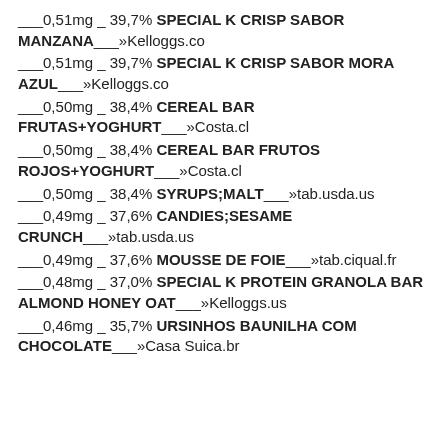___0,51mg _ 39,7% SPECIAL K CRISP SABOR MANZANA___»Kelloggs.co
___0,51mg _ 39,7% SPECIAL K CRISP SABOR MORA AZUL___»Kelloggs.co
___0,50mg _ 38,4% CEREAL BAR FRUTAS+YOGHURT___»Costa.cl
___0,50mg _ 38,4% CEREAL BAR FRUTOS ROJOS+YOGHURT___»Costa.cl
___0,50mg _ 38,4% SYRUPS;MALT___»tab.usda.us
___0,49mg _ 37,6% CANDIES;SESAME CRUNCH___»tab.usda.us
___0,49mg _ 37,6% MOUSSE DE FOIE___»tab.ciqual.fr
___0,48mg _ 37,0% SPECIAL K PROTEIN GRANOLA BAR ALMOND HONEY OAT___»Kelloggs.us
___0,46mg _ 35,7% URSINHOS BAUNILHA COM CHOCOLATE___»Casa Suica.br